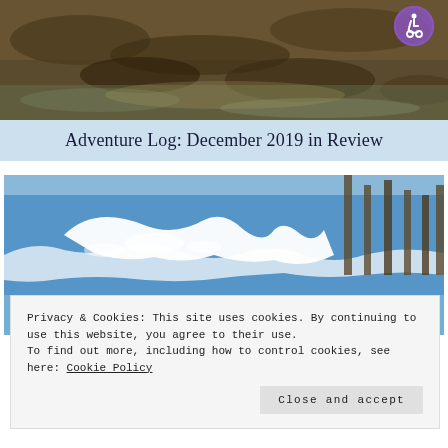[Figure (photo): Rocky shoreline with dark rocks and shallow water, aerial/close view]
Adventure Log: December 2019 in Review
[Figure (photo): Ocean waves crashing near a pier/dock with wooden pilings, blue water and white foam]
Privacy & Cookies: This site uses cookies. By continuing to use this website, you agree to their use.
To find out more, including how to control cookies, see here: Cookie Policy
Close and accept